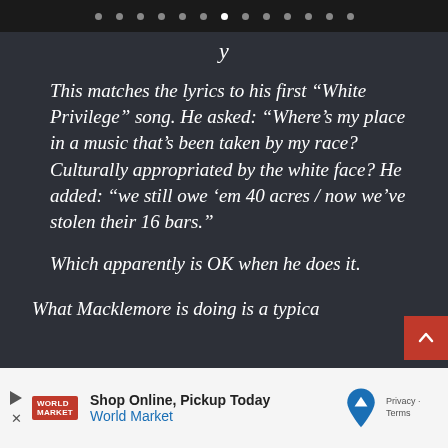navigation dots indicator
This matches the lyrics to his first “White Privilege” song. He asked: “Where’s my place in a music that’s been taken by my race? Culturally appropriated by the white face? He added: “we still owe ‘em 40 acres / now we’ve stolen their 16 bars.”
Which apparently is OK when he does it.
What Macklemore is doing is a typica
[Figure (other): Advertisement banner: Shop Online, Pickup Today - World Market, with play/close icons, logo, and map pin icon on right side]
[Figure (other): Red scroll-to-top button with up chevron arrow]